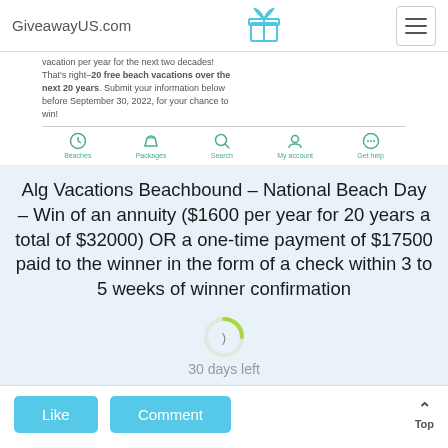GiveawayUS.com
vacation per year for the next two decades! That's right–20 free beach vacations over the next 20 years. Submit your information below before September 30, 2022, for your chance to win!
Alg Vacations Beachbound – National Beach Day – Win of an annuity ($1600 per year for 20 years a total of $32000) OR a one-time payment of $17500 paid to the winner in the form of a check within 3 to 5 weeks of winner confirmation
30 days left